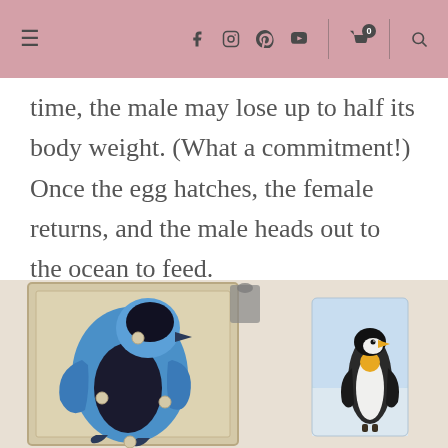Navigation bar with hamburger menu, social icons (f, Instagram, Pinterest, YouTube), cart (0), and search
time, the male may lose up to half its body weight. (What a commitment!) Once the egg hatches, the female returns, and the male heads out to the ocean to feed.
[Figure (photo): A wooden Montessori-style penguin puzzle with blue puzzle pieces on a light wood board, alongside a photo card showing a real king penguin standing on snow.]